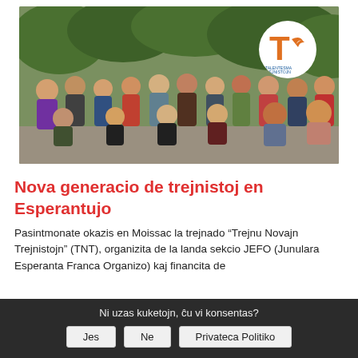[Figure (photo): Group photo of approximately 20 young people posing outdoors on a path surrounded by trees, with a circular logo (T symbol, Talentesma Trejnistojn) in the top-right corner]
Nova generacio de trejnistoj en Esperantujo
Pasintmonate okazis en Moissac la trejnado “Trejnu Novajn Trejnistojn” (TNT), organizita de la landa sekcio JEFO (Junulara Esperanta Franca Organizo) kaj financita de
Ni uzas kuketojn, ĉu vi konsentas?
Jes   Ne   Privateca Politiko